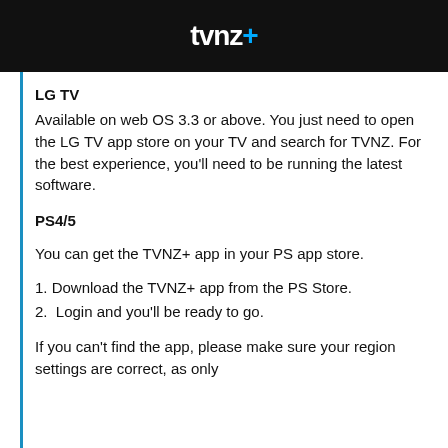tvnz+
LG TV
Available on web OS 3.3 or above. You just need to open the LG TV app store on your TV and search for TVNZ. For the best experience, you'll need to be running the latest software.
PS4/5
You can get the TVNZ+ app in your PS app store.
1. Download the TVNZ+ app from the PS Store.
2.  Login and you'll be ready to go.
If you can't find the app, please make sure your region settings are correct, as only